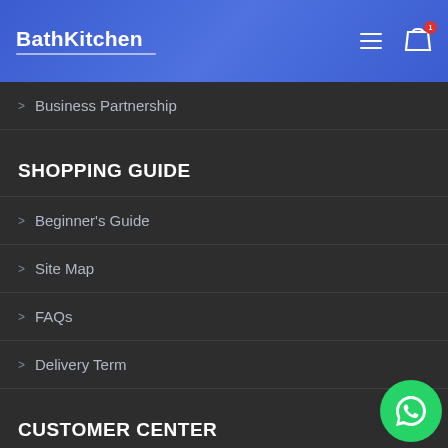BathKitchen
> Business Partnership
SHOPPING GUIDE
> Beginner's Guide
> Site Map
> FAQs
> Delivery Term
CUSTOMER CENTER
> My Account
> Orders